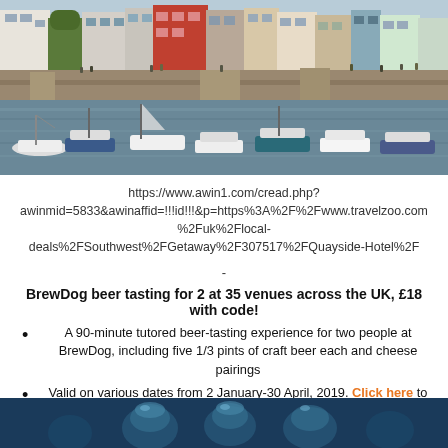[Figure (photo): Harbor scene with colorful buildings and boats moored in water]
https://www.awin1.com/cread.php?awinmid=5833&awinaffid=!!!id!!!&p=https%3A%2F%2Fwww.travelzoo.com%2Fuk%2Flocal-deals%2FSouthwest%2FGetaway%2F307517%2FQuayside-Hotel%2F
-
BrewDog beer tasting for 2 at 35 venues across the UK, £18 with code!
A 90-minute tutored beer-tasting experience for two people at BrewDog, including five 1/3 pints of craft beer each and cheese pairings
Valid on various dates from 2 January-30 April, 2019. Click here to check full availability
[Figure (photo): Bottom partial photo showing blue-tinted beverages or glassware]